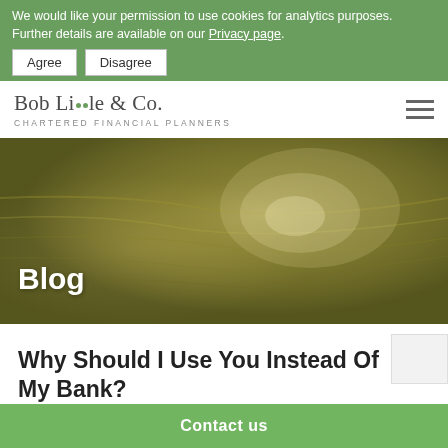We would like your permission to use cookies for analytics purposes. Further details are available on our Privacy page.
Agree | Disagree
Bob Little & Co. CHARTERED FINANCIAL PLANNERS
[Figure (photo): Close-up photo of wooden texture with warm olive/yellow tones forming the blog page hero banner]
Blog
Why Should I Use You Instead Of My Bank?
Contact us